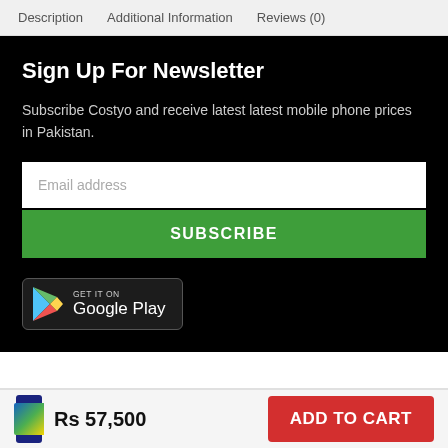Description   Additional Information   Reviews (0)
Sign Up For Newsletter
Subscribe Costyo and receive latest latest mobile phone prices in Pakistan.
Email address
SUBSCRIBE
[Figure (logo): GET IT ON Google Play badge]
Rs 57,500
ADD TO CART